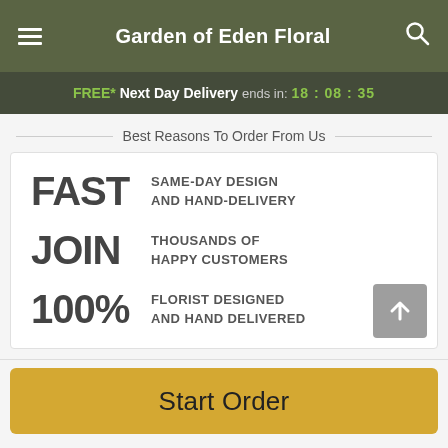Garden of Eden Floral
FREE* Next Day Delivery ends in: 18:08:35
Best Reasons To Order From Us
FAST — SAME-DAY DESIGN AND HAND-DELIVERY
JOIN — THOUSANDS OF HAPPY CUSTOMERS
100% — FLORIST DESIGNED AND HAND DELIVERED
Start Order